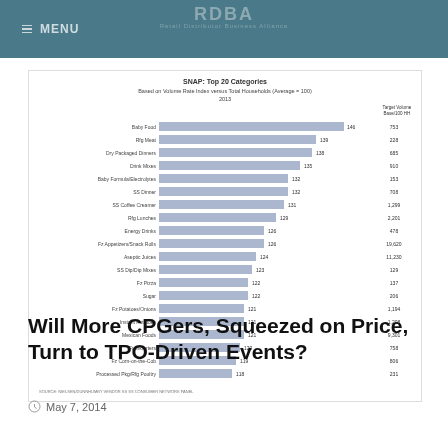MENU | RDBA – Retail Distributor Business Alliance
[Figure (bar-chart): SNAP: Top 20 Categories
Based on Volume Rate Index versus Total Households (Average = 100)
2013]
Will More CPGers, Squeezed on Price, Turn to TPO-Driven Events?
May 7, 2014